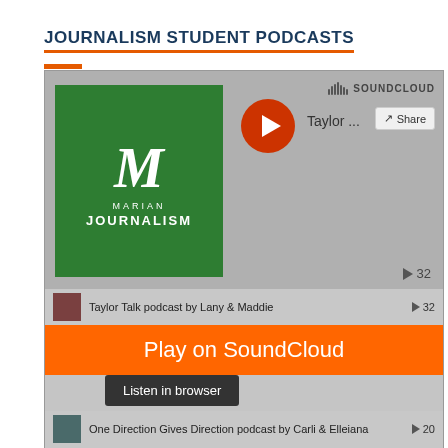JOURNALISM STUDENT PODCASTS
[Figure (screenshot): SoundCloud embedded widget showing Marian Journalism podcast player with track list including Taylor Talk podcast by Lany & Maddie (32 plays), Crusader Catch Up podcast by Maddie & Elise (5 plays), One Direction Gives Direction podcast by Carli & Elleiana (20 plays), Distraught Netflix Subscriber podcast by Ashley (15 plays). Overlay shows orange 'Play on SoundCloud' button and dark 'Listen in browser' tooltip.]